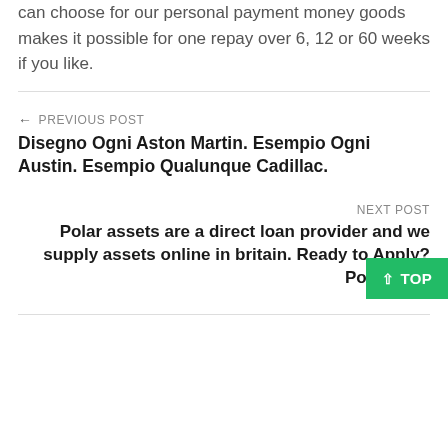can choose for our personal payment money goods makes it possible for one repay over 6, 12 or 60 weeks if you like.
← PREVIOUS POST
Disegno Ogni Aston Martin. Esempio Ogni Austin. Esempio Qualunque Cadillac.
NEXT POST
Polar assets are a direct loan provider and we supply assets online in britain. Ready to Apply? Polar Debt